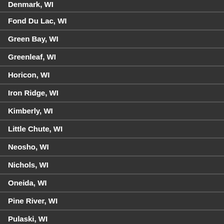Denmark, WI
Fond Du Lac, WI
Green Bay, WI
Greenleaf, WI
Horicon, WI
Iron Ridge, WI
Kimberly, WI
Little Chute, WI
Neosho, WI
Nichols, WI
Oneida, WI
Pine River, WI
Pulaski, WI
Redgranite, WI
Rosendale, WI